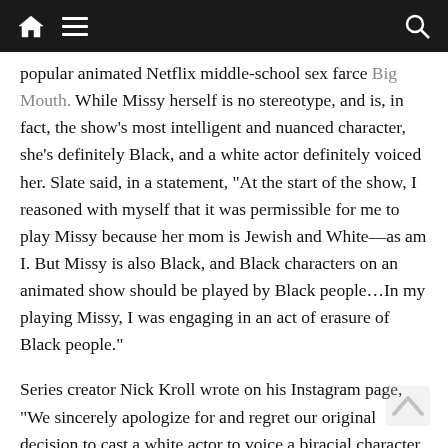Navigation bar with home, menu, and search icons
popular animated Netflix middle-school sex farce Big Mouth. While Missy herself is no stereotype, and is, in fact, the show's most intelligent and nuanced character, she's definitely Black, and a white actor definitely voiced her. Slate said, in a statement, “At the start of the show, I reasoned with myself that it was permissible for me to play Missy because her mom is Jewish and White—as am I. But Missy is also Black, and Black characters on an animated show should be played by Black people…In my playing Missy, I was engaging in an act of erasure of Black people.”
Series creator Nick Kroll wrote on his Instagram page, “We sincerely apologize for and regret our original decision to cast a white actor to voice a biracial character. We made a mistake, took our